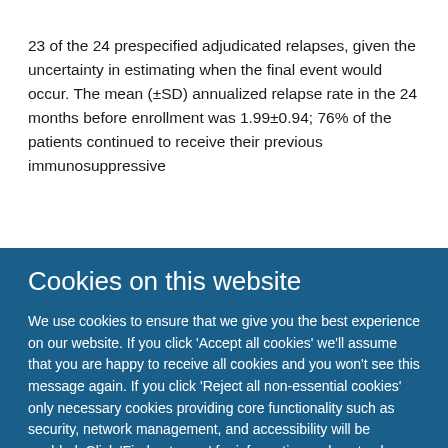23 of the 24 prespecified adjudicated relapses, given the uncertainty in estimating when the final event would occur. The mean (±SD) annualized relapse rate in the 24 months before enrollment was 1.99±0.94; 76% of the patients continued to receive their previous immunosuppressive
Cookies on this website
We use cookies to ensure that we give you the best experience on our website. If you click 'Accept all cookies' we'll assume that you are happy to receive all cookies and you won't see this message again. If you click 'Reject all non-essential cookies' only necessary cookies providing core functionality such as security, network management, and accessibility will be enabled. Click 'Find out more' for information on how to change your cookie settings.
Accept all cookies | Reject all non-essential cookies | Find out more